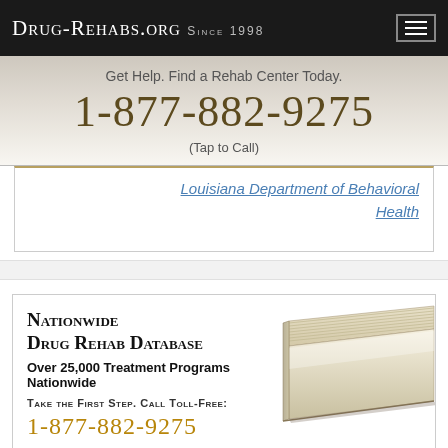Drug-Rehabs.org Since 1998
Get Help. Find a Rehab Center Today.
1-877-882-9275
(Tap to Call)
Louisiana Department of Behavioral Health
Nationwide Drug Rehab Database
Over 25,000 Treatment Programs Nationwide
Take the First Step. Call Toll-Free:
1-877-882-9275